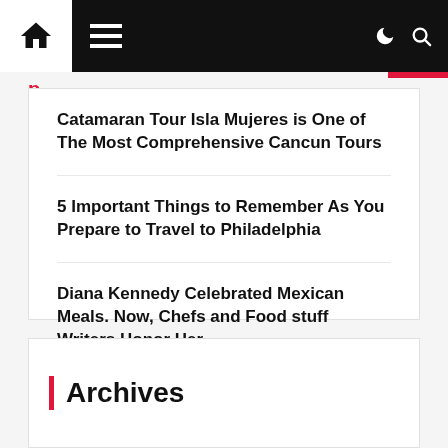Navigation bar with home, hamburger menu, dark mode, and search icons
Catamaran Tour Isla Mujeres is One of The Most Comprehensive Cancun Tours
5 Important Things to Remember As You Prepare to Travel to Philadelphia
Diana Kennedy Celebrated Mexican Meals. Now, Chefs and Food stuff Writers Honor Her
How to Enjoy a Campfire
Portland Dining places and Food Carts as Zodiac Indicators
Archives